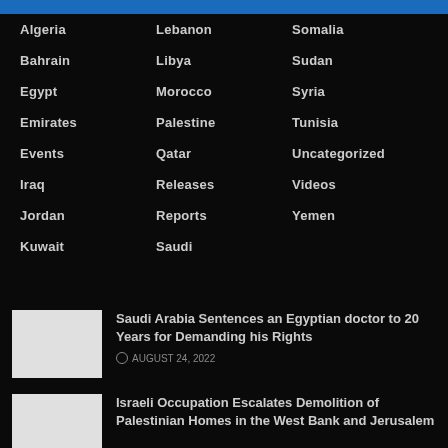Algeria
Lebanon
Somalia
Bahrain
Libya
Sudan
Egypt
Morocco
Syria
Emirates
Palestine
Tunisia
Events
Qatar
Uncategorized
Iraq
Releases
Videos
Jordan
Reports
Yemen
Kuwait
Saudi
Saudi Arabia Sentences an Egyptian doctor to 20 Years for Demanding his Rights
AUGUST 24, 2022
Israeli Occupation Escalates Demolition of Palestinian Homes in the West Bank and Jerusalem